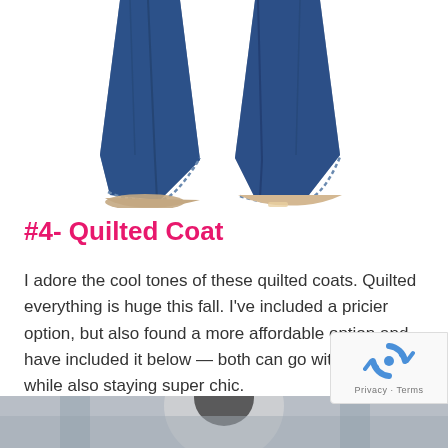[Figure (photo): Close-up photo of dark blue denim flare jeans legs from below the knee, showing the flared hems on a white background with feet visible]
#4- Quilted Coat
I adore the cool tones of these quilted coats. Quilted everything is huge this fall. I've included a pricier option, but also found a more affordable option and have included it below — both can go with any outfit while also staying super chic.
[Figure (photo): Bottom portion of a photo showing a person, partially visible at the bottom of the page]